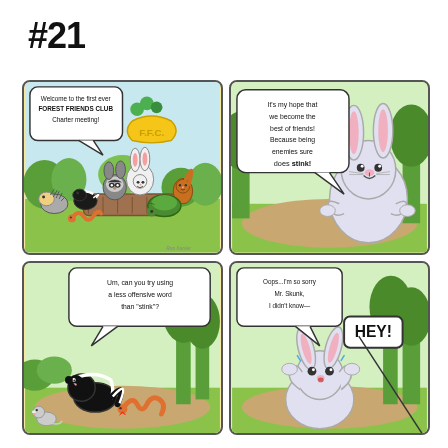#21
[Figure (illustration): Four-panel comic strip. Panel 1 (top-left): Forest animals gathered at a log for the first ever Forest Friends Club Charter meeting. A rabbit at podium with speech bubble: 'Welcome to the first ever FOREST FRIENDS CLUB Charter meeting!' A banner reads F.F.C. Animals include a skunk, snake, raccoon, turtle, squirrel, hedgehog. Panel 2 (top-right): A large white rabbit speaking with speech bubble: 'It's my hope that we become the best of friends! Because being enemies sure does stink!' Panel 3 (bottom-left): A skunk and snake, skunk with speech bubble: 'Um, can you try using a less offensive word than "stink"?' A small mouse also visible. Panel 4 (bottom-right): The white rabbit looking shocked, with speech bubbles: 'Oops...I'm so sorry Mr. Skunk, I didn't know—' and 'HEY!' Artist signature: Roo Kanter.]